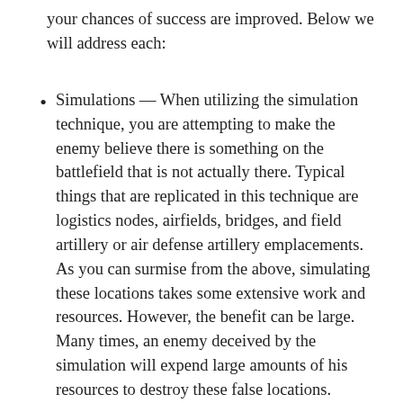your chances of success are improved. Below we will address each:
Simulations — When utilizing the simulation technique, you are attempting to make the enemy believe there is something on the battlefield that is not actually there. Typical things that are replicated in this technique are logistics nodes, airfields, bridges, and field artillery or air defense artillery emplacements. As you can surmise from the above, simulating these locations takes some extensive work and resources. However, the benefit can be large. Many times, an enemy deceived by the simulation will expend large amounts of his resources to destroy these false locations.